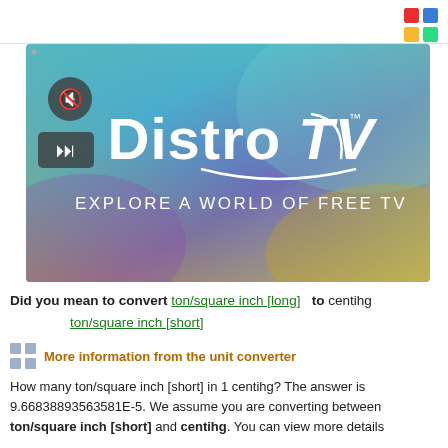[Figure (screenshot): DistroTV banner image with colorful gradient background (teal, purple, yellow). Shows 'DistroTV' logo in large white text with tagline 'Explore a World of Free TV'. Mute and play/pause buttons visible on left side.]
Did you mean to convert ton/square inch [long]  to  centihg
ton/square inch [short]
More information from the unit converter
How many ton/square inch [short] in 1 centihg? The answer is 9.66838893563581E-5. We assume you are converting between ton/square inch [short] and centihg. You can view more details